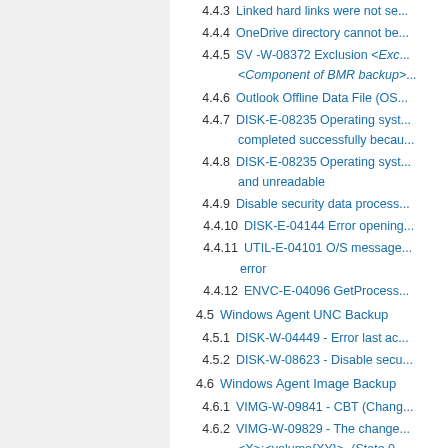4.4.3 Linked hard links were not se...
4.4.4 OneDrive directory cannot be...
4.4.5 SV -W-08372 Exclusion <Exc... <Component of BMR backup>...
4.4.6 Outlook Offline Data File (OS...
4.4.7 DISK-E-08235 Operating syst... completed successfully becau...
4.4.8 DISK-E-08235 Operating syst... and unreadable
4.4.9 Disable security data process...
4.4.10 DISK-E-04144 Error opening...
4.4.11 UTIL-E-04101 O/S message... error
4.4.12 ENVC-E-04096 GetProcess...
4.5 Windows Agent UNC Backup
4.5.1 DISK-W-04449 - Error last ac...
4.5.2 DISK-W-08623 - Disable secu...
4.6 Windows Agent Image Backup
4.6.1 VIMG-W-09841 - CBT (Chang...
4.6.2 VIMG-W-09829 - The change... <X>:<volume{XY}>. (State 0...